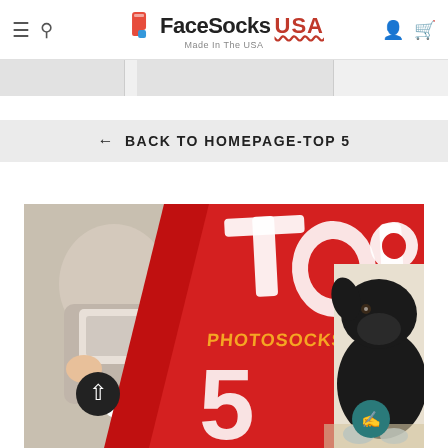FaceSocks USA — Made In The USA
← BACK TO HOMEPAGE-TOP 5
[Figure (photo): Promotional banner showing 'TOP 5 PHOTOSOCKS' in large white and yellow brushstroke text on a red diagonal background, with a baby holding a photo-sock on the left and a black Labrador dog wearing custom socks on the right]